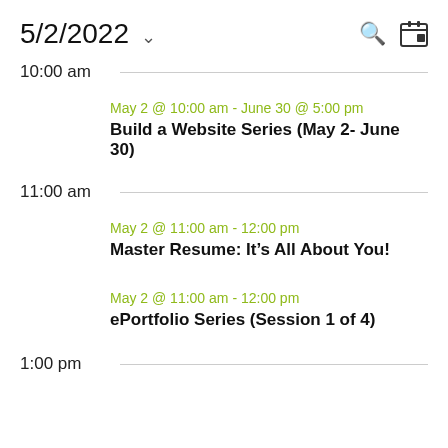5/2/2022
10:00 am
May 2 @ 10:00 am - June 30 @ 5:00 pm
Build a Website Series (May 2- June 30)
11:00 am
May 2 @ 11:00 am - 12:00 pm
Master Resume: It’s All About You!
May 2 @ 11:00 am - 12:00 pm
ePortfolio Series (Session 1 of 4)
1:00 pm